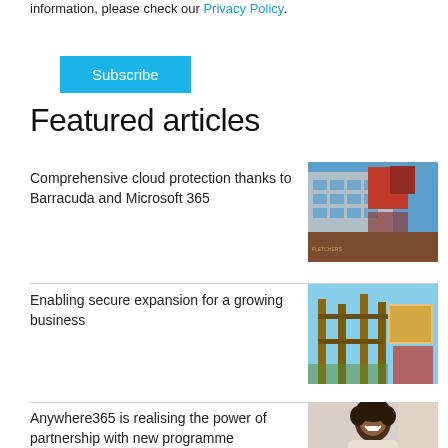information, please check our Privacy Policy.
Subscribe
Featured articles
Comprehensive cloud protection thanks to Barracuda and Microsoft 365
[Figure (photo): Exterior of a building with red and brown geometric panels, FLETCHERS sign visible]
Enabling secure expansion for a growing business
[Figure (photo): Outdoor sign or storefront with wooden structures and a colorful display in background]
Anywhere365 is realising the power of partnership with new programme
[Figure (photo): Person with curly hair laughing, wearing a light-colored top]